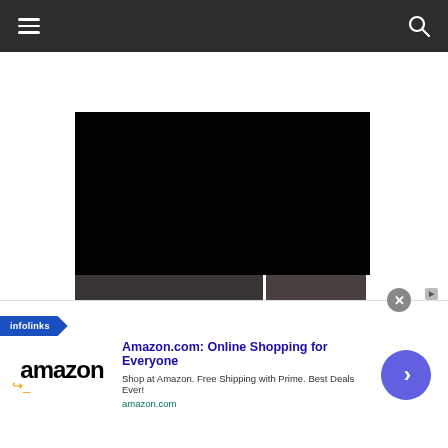Navigation bar with hamburger menu and search icon
[Figure (screenshot): Black video player area embedded in webpage]
[Figure (screenshot): Two dark thumbnail images below the video player. Left thumbnail has overlaid text: 'The arc eyelash comb for classy eyelashes']
infolinks
[Figure (other): Amazon advertisement banner: Amazon.com: Online Shopping for Everyone. Shop at Amazon. Free Shipping with Prime. Best Deals Ever! amazon.com]